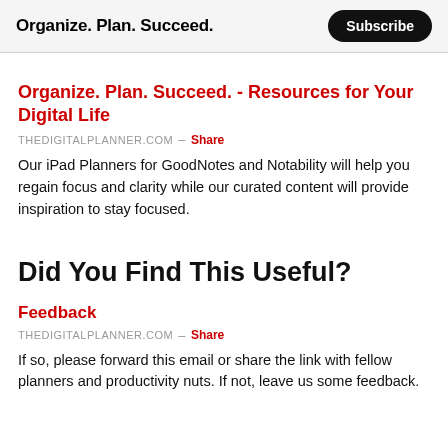Organize. Plan. Succeed.
Organize. Plan. Succeed. - Resources for Your Digital Life
THEDIGITALPLANNER.COM – Share
Our iPad Planners for GoodNotes and Notability will help you regain focus and clarity while our curated content will provide inspiration to stay focused.
Did You Find This Useful?
Feedback
THEDIGITALPLANNER.COM – Share
If so, please forward this email or share the link with fellow planners and productivity nuts. If not, leave us some feedback.